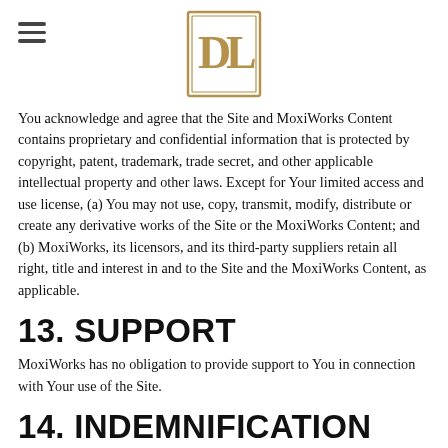[Hamburger menu icon] [DP Logo]
You acknowledge and agree that the Site and MoxiWorks Content contains proprietary and confidential information that is protected by copyright, patent, trademark, trade secret, and other applicable intellectual property and other laws. Except for Your limited access and use license, (a) You may not use, copy, transmit, modify, distribute or create any derivative works of the Site or the MoxiWorks Content; and (b) MoxiWorks, its licensors, and its third-party suppliers retain all right, title and interest in and to the Site and the MoxiWorks Content, as applicable.
13. SUPPORT
MoxiWorks has no obligation to provide support to You in connection with Your use of the Site.
14. INDEMNIFICATION
You agree to defend, indemnify and hold harmless MoxiWorks and its employees, officers, directors, affiliates, contractors, suppliers, and agents from and against any and all liabilities